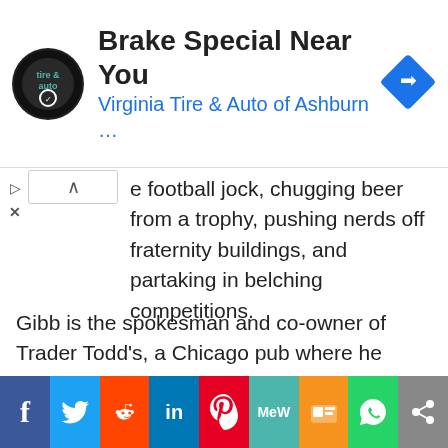[Figure (other): Advertisement banner for Virginia Tire & Auto of Ashburn with logo, text 'Brake Special Near You', and a blue navigation arrow icon]
e football jock, chugging beer from a trophy, pushing nerds off fraternity buildings, and partaking in belching competitions.
Gibb is the spokesman and co-owner of Trader Todd's, a Chicago pub where he promotes “Ogre beer,” named after his iconic character in Revenge of the Nerds. Gibb appeared in an interview with Revenge of the Nerds co-stars Robert Carradine and Andrew Cassese at the Niagara Falls Comic Con in 2018.
Donald Gibb Overview
[Figure (other): Social media sharing bar with icons for Facebook, Twitter, Reddit, LinkedIn, Pinterest, MeWe, Mix, WhatsApp, and Share]